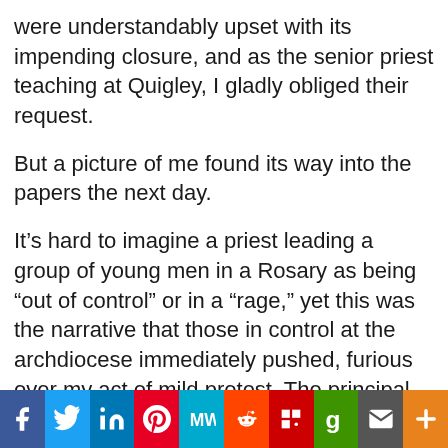were understandably upset with its impending closure, and as the senior priest teaching at Quigley, I gladly obliged their request.
But a picture of me found its way into the papers the next day.
It’s hard to imagine a priest leading a group of young men in a Rosary as being “out of control” or in a “rage,” yet this was the narrative that those in control at the archdiocese immediately pushed, furious over my act of mild protest. The principal person behind painting this false perception was Colleen Dolan, the archdiocese’s public relations person at the time.
[Figure (infographic): Social media sharing bar with buttons for Facebook, Twitter, LinkedIn, Pinterest, MeWe, Reddit, Flipboard, Gab, Email, and More (+)]